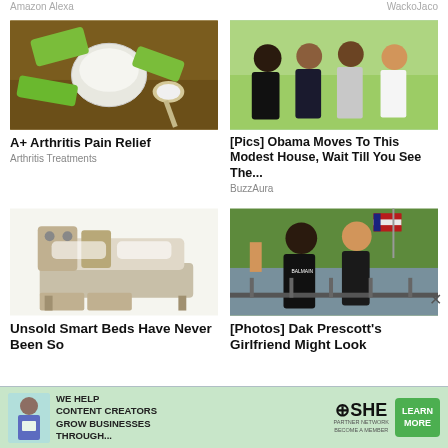Amazon Alexa    WackoJaco
[Figure (photo): Aloe vera pieces and a bowl with white powder on a wooden table]
A+ Arthritis Pain Relief
Arthritis Treatments
[Figure (photo): Group photo of the Obama family — Michelle, a young woman, Barack, and Malia smiling outdoors]
[Pics] Obama Moves To This Modest House, Wait Till You See The...
BuzzAura
[Figure (photo): A luxurious multi-function smart bed with storage drawers, speakers, and massage features]
Unsold Smart Beds Have Never Been So
[Figure (photo): Dak Prescott and his girlfriend posing in front of an American flag outdoors]
[Photos] Dak Prescott's Girlfriend Might Look
[Figure (infographic): SHE Media Partner Network advertisement banner — We help content creators grow businesses through...]